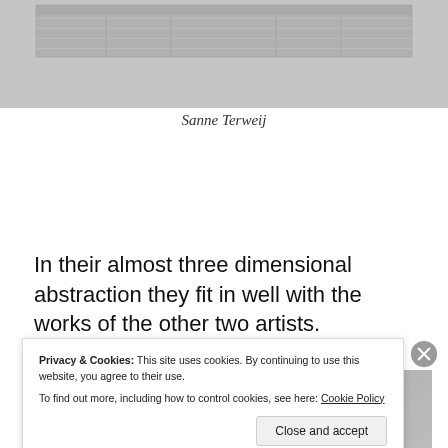[Figure (photo): Top portion of a photograph showing a sculptural or architectural piece with horizontal panels, partially cropped at top. Gray tones, appears metallic or concrete surface.]
Sanne Terweij
In their almost three dimensional abstraction they fit in well with the works of the other two artists.
[Figure (photo): Bottom portion of a photograph showing a gray metallic or textured surface, partially obscured by cookie consent banner.]
Privacy & Cookies: This site uses cookies. By continuing to use this website, you agree to their use.
To find out more, including how to control cookies, see here: Cookie Policy
Close and accept